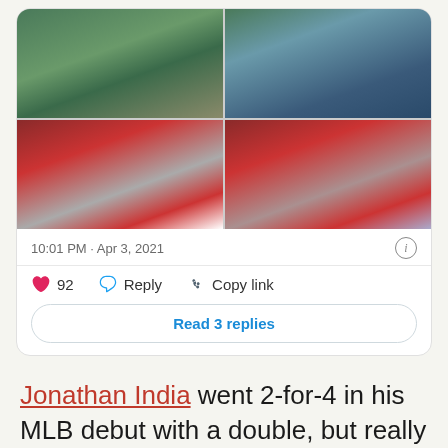[Figure (photo): Four-panel photo grid showing a baseball brawl/altercation on a baseball field. Top left: players on field with #40 visible. Top right: player #40 in Cardinals uniform. Bottom left: players in crowd/brawl with Delta signage visible. Bottom right: large group brawl on field with fans watching.]
10:01 PM · Apr 3, 2021
92  Reply  Copy link
Read 3 replies
Jonathan India went 2-for-4 in his MLB debut with a double, but really the story was done by 10 runs